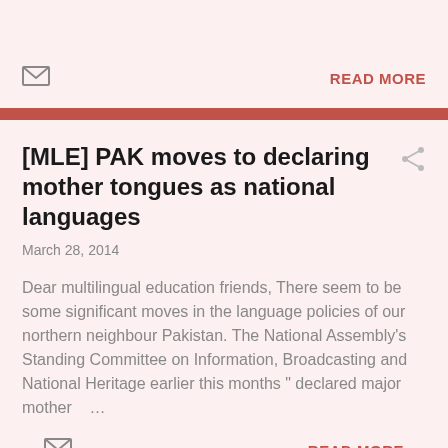READ MORE
[MLE] PAK moves to declaring mother tongues as national languages
March 28, 2014
Dear multilingual education friends, There seem to be some significant moves in the language policies of our northern neighbour Pakistan. The National Assembly's Standing Committee on Information, Broadcasting and National Heritage earlier this months " declared major mother ...
READ MORE
[MLE] New book - Orthographies